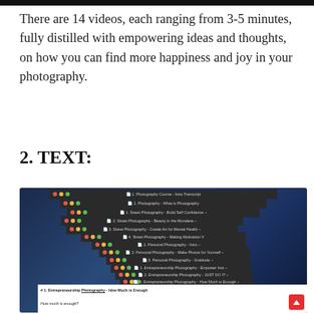There are 14 videos, each ranging from 3-5 minutes, fully distilled with empowering ideas and thoughts, on how you can find more happiness and joy in your photography.
2. TEXT:
[Figure (screenshot): Screenshot of a Mac desktop showing multiple stacked text editor windows with a photography course curriculum. The foremost window shows text about Entrepreneurship Photography - How Much is Enough, with content about finding joy, having enough, and pushing yourself creatively.]